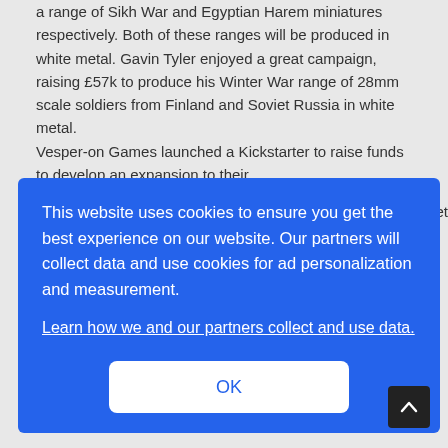a range of Sikh War and Egyptian Harem miniatures respectively. Both of these ranges will be produced in white metal. Gavin Tyler enjoyed a great campaign, raising £57k to produce his Winter War range of 28mm scale soldiers from Finland and Soviet Russia in white metal.
Vesper-on Games launched a Kickstarter to raise funds to develop an expansion to their Following on from recent Fantasy Football skirmish game Carnevale set ct sets of miniatures of the game.
This website uses cookies to ensure you get the best experience on our website. Our partners will collect data and use cookies for ad personalization and measurement.
Learn how we and our partners collect and use data.
OK